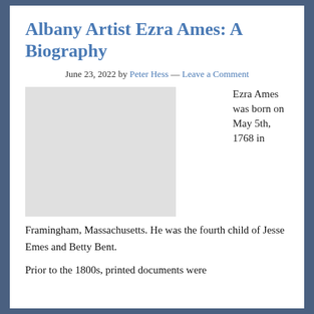Albany Artist Ezra Ames: A Biography
June 23, 2022 by Peter Hess — Leave a Comment
Ezra Ames was born on May 5th, 1768 in
Framingham, Massachusetts. He was the fourth child of Jesse Emes and Betty Bent.
Prior to the 1800s, printed documents were